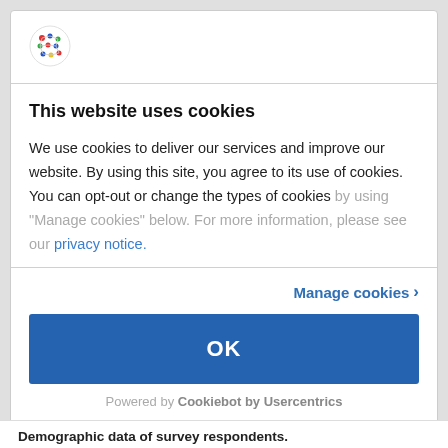[Figure (logo): Circular logo with colorful dots arranged in a grid pattern (red, blue, green, yellow dots)]
This website uses cookies
We use cookies to deliver our services and improve our website. By using this site, you agree to its use of cookies. You can opt-out or change the types of cookies by using “Manage cookies” below. For more information, please see our privacy notice.
Manage cookies ›
OK
Powered by Cookiebot by Usercentrics
Demographic data of survey respondents.